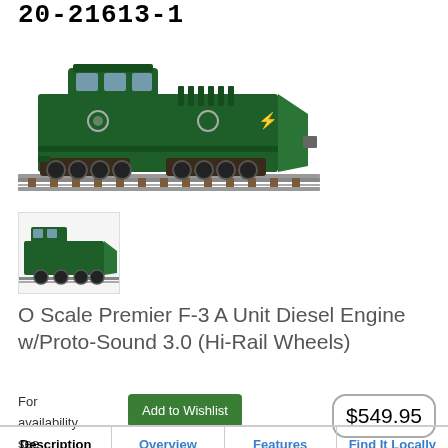20-21613-1
[Figure (photo): Main product image: green O Scale Premier F-3 A Unit Diesel Engine locomotive on tracks, side view]
[Figure (photo): Thumbnail image: green diesel locomotive, front-side view]
O Scale Premier F-3 A Unit Diesel Engine w/Proto-Sound 3.0 (Hi-Rail Wheels)
For availability see 'Find it locally' tab
Add to Wishlist
$549.95
| Description | Overview | Features | Find It Locally |
| --- | --- | --- | --- |